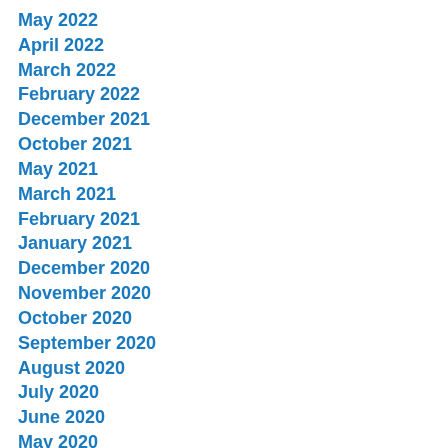May 2022
April 2022
March 2022
February 2022
December 2021
October 2021
May 2021
March 2021
February 2021
January 2021
December 2020
November 2020
October 2020
September 2020
August 2020
July 2020
June 2020
May 2020
April 2020
March 2020